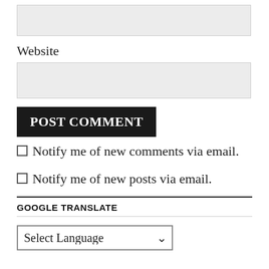[Figure (other): A text input field (empty, light gray background)]
Website
[Figure (other): A text input field labeled Website (empty, light gray background)]
POST COMMENT
Notify me of new comments via email.
Notify me of new posts via email.
GOOGLE TRANSLATE
[Figure (other): A language select dropdown showing 'Select Language' with a chevron arrow]